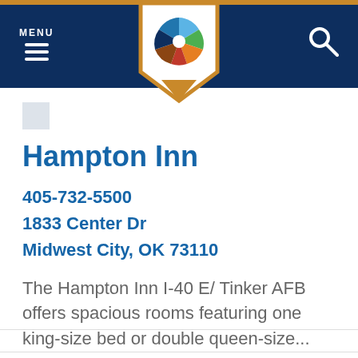MENU [hamburger icon] [logo] [search icon]
[Figure (logo): Colorful star/pinwheel logo in a white shield/badge shape with gold border at bottom, on dark navy navigation bar]
Hampton Inn
405-732-5500
1833 Center Dr
Midwest City, OK 73110
The Hampton Inn I-40 E/ Tinker AFB offers spacious rooms featuring one king-size bed or double queen-size...
LEARN MORE >